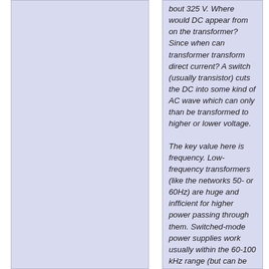bout 325 V. Where would DC appear from on the transformer? Since when can transformer transform direct current? A switch (usually transistor) cuts the DC into some kind of AC wave which can only than be transformed to higher or lower voltage.
The key value here is frequency. Low-frequency transformers (like the networks 50- or 60Hz) are huge and infficient for higher power passing through them. Switched-mode power supplies work usually within the 60-100 kHz range (but can be up to...